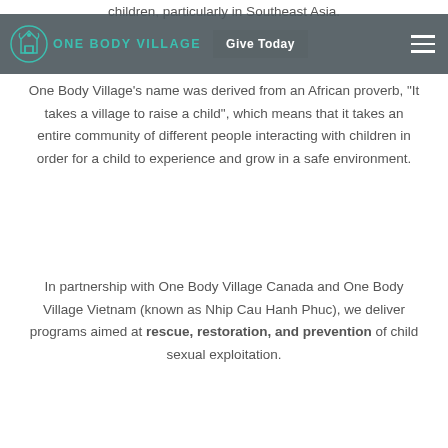children, particularly in Southeast Asia.
ONE BODY VILLAGE | Give Today
One Body Village's name was derived from an African proverb, "It takes a village to raise a child", which means that it takes an entire community of different people interacting with children in order for a child to experience and grow in a safe environment.
In partnership with One Body Village Canada and One Body Village Vietnam (known as Nhip Cau Hanh Phuc), we deliver programs aimed at rescue, restoration, and prevention of child sexual exploitation.